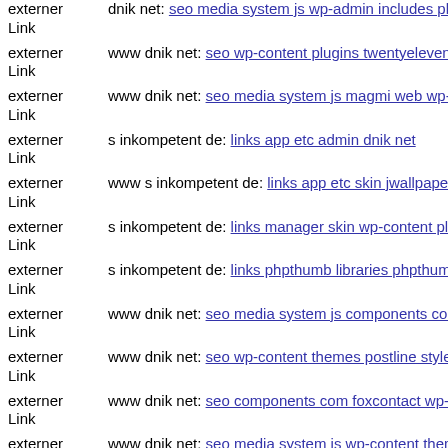externer Link dnik net: seo media system js wp-admin includes plugins m
externer Link www dnik net: seo wp-content plugins twentyeleven includ
externer Link www dnik net: seo media system js magmi web wp-content
externer Link s inkompetent de: links app etc admin dnik net
externer Link www s inkompetent de: links app etc skin jwallpapers files
externer Link s inkompetent de: links manager skin wp-content plugins w
externer Link s inkompetent de: links phpthumb libraries phpthumb comp
externer Link www dnik net: seo media system js components com b2jco
externer Link www dnik net: seo wp-content themes postline style css
externer Link www dnik net: seo components com foxcontact wp-content
externer Link www dnik net: seo media system js wp-content themes pre
externer Link www dnik net: seo public dnik net